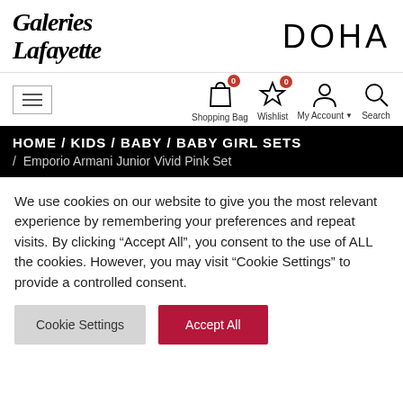[Figure (logo): Galeries Lafayette Doha logo — handwritten Galeries Lafayette script on left, DOHA in large sans-serif on right]
[Figure (infographic): Navigation bar with hamburger menu icon, shopping bag icon with badge 0, wishlist star icon with badge 0, my account person icon with dropdown, and search magnifying glass icon. Labels: Shopping Bag, Wishlist, My Account, Search]
HOME / KIDS / BABY / BABY GIRL SETS / Emporio Armani Junior Vivid Pink Set
We use cookies on our website to give you the most relevant experience by remembering your preferences and repeat visits. By clicking “Accept All”, you consent to the use of ALL the cookies. However, you may visit "Cookie Settings" to provide a controlled consent.
Cookie Settings | Accept All